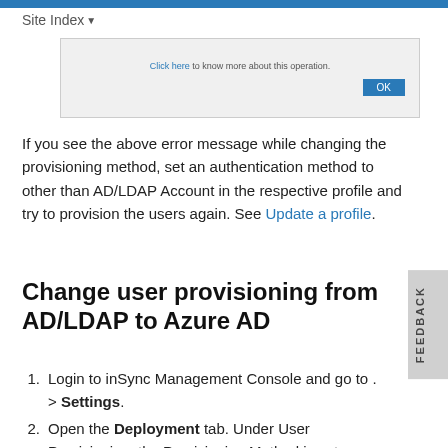Site Index
[Figure (screenshot): Screenshot of a dialog box with text 'Click here to know more about this operation.' and an OK button]
If you see the above error message while changing the provisioning method, set an authentication method to other than AD/LDAP Account in the respective profile and try to provision the users again. See Update a profile.
Change user provisioning from AD/LDAP to Azure AD
Login to inSync Management Console and go to . > Settings.
Open the Deployment tab. Under User Provisioning, the Provisioning Method is set as AD/LDAP.